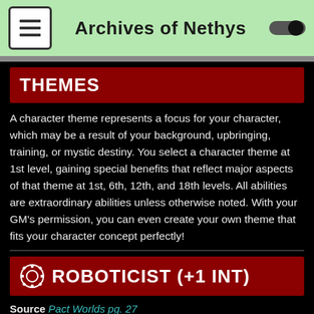Archives of Nethys
THEMES
A character theme represents a focus for your character, which may be a result of your background, upbringing, training, or mystic destiny. You select a character theme at 1st level, gaining special benefits that reflect major aspects of that theme at 1st, 6th, 12th, and 18th levels. All abilities are extraordinary abilities unless otherwise noted. With your GM's permission, you can even create your own theme that fits your character concept perfectly!
ROBOTICIST (+1 INT)
Source Pact Worlds pg. 27
You are fascinated by the internal workings of machines, whether they're intelligent constructs or technological